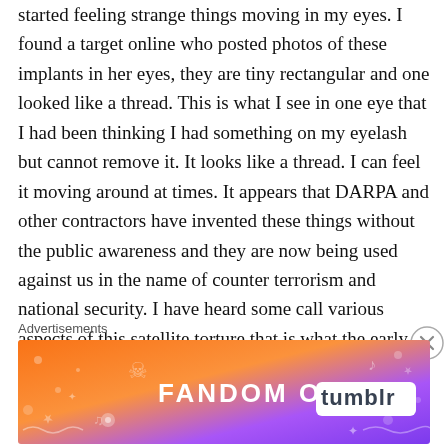started feeling strange things moving in my eyes. I found a target online who posted photos of these implants in her eyes, they are tiny rectangular and one looked like a thread. This is what I see in one eye that I had been thinking I had something on my eyelash but cannot remove it. It looks like a thread. I can feel it moving around at times. It appears that DARPA and other contractors have invented these things without the public awareness and they are now being used against us in the name of counter terrorism and national security. I have heard some call various aspects of this satellite torture that is what the early part of this felt like because
Advertisements
[Figure (other): Fandom on Tumblr advertisement banner with colorful gradient background (orange to purple) featuring icons and the text 'FANDOM ON tumblr']